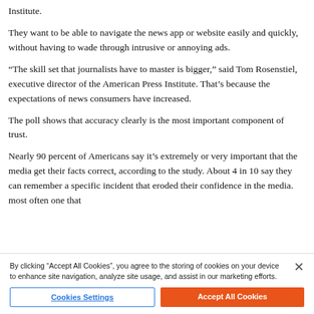Institute.
They want to be able to navigate the news app or website easily and quickly, without having to wade through intrusive or annoying ads.
“The skill set that journalists have to master is bigger,” said Tom Rosenstiel, executive director of the American Press Institute. That’s because the expectations of news consumers have increased.
The poll shows that accuracy clearly is the most important component of trust.
Nearly 90 percent of Americans say it’s extremely or very important that the media get their facts correct, according to the study. About 4 in 10 say they can remember a specific incident that eroded their confidence in the media. most often one that
By clicking “Accept All Cookies”, you agree to the storing of cookies on your device to enhance site navigation, analyze site usage, and assist in our marketing efforts.